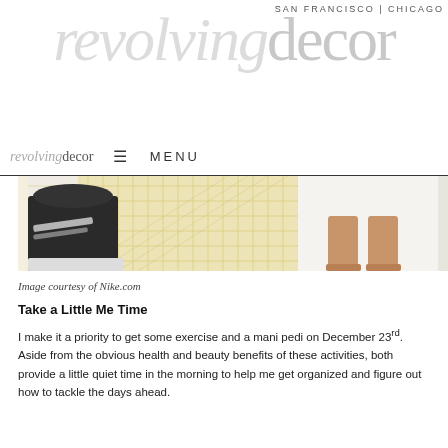SAN FRANCISCO | CHICAGO
[Figure (logo): revolvingdecor large watermark logo in light gray]
revolvingdecor   ≡ MENU
[Figure (photo): Close-up of a Nike sneaker on the left and bare feet on the right on a yellow/white grid mat]
Image courtesy of Nike.com
Take a Little Me Time
I make it a priority to get some exercise and a mani pedi on December 23rd. Aside from the obvious health and beauty benefits of these activities, both provide a little quiet time in the morning to help me get organized and figure out how to tackle the days ahead.